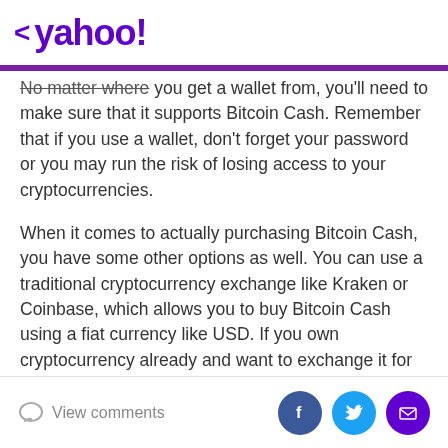< yahoo!
No matter where you get a wallet from, you'll need to make sure that it supports Bitcoin Cash. Remember that if you use a wallet, don't forget your password or you may run the risk of losing access to your cryptocurrencies.
When it comes to actually purchasing Bitcoin Cash, you have some other options as well. You can use a traditional cryptocurrency exchange like Kraken or Coinbase, which allows you to buy Bitcoin Cash using a fiat currency like USD. If you own cryptocurrency already and want to exchange it for Bitcoin Cash, you can use platforms like Binance, Poloniex or Bittrex, among others. You also have the option to buy fractional shares
View comments